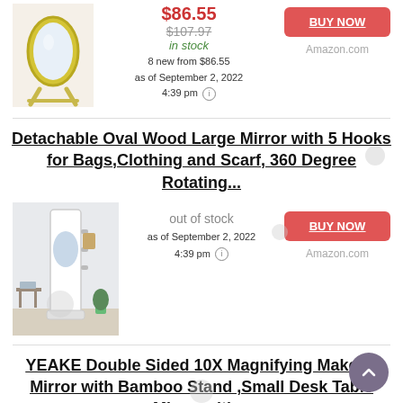[Figure (photo): Yellow-framed oval mirror on stand]
$86.55 (sale price, strikethrough red), $107.97 (strikethrough), in stock, 8 new from $86.55, as of September 2, 2022 4:39 pm
BUY NOW button, Amazon.com
Detachable Oval Wood Large Mirror with 5 Hooks for Bags,Clothing and Scarf, 360 Degree Rotating...
[Figure (photo): White tall mirror with hooks and décor items around it]
out of stock, as of September 2, 2022 4:39 pm
BUY NOW button, Amazon.com
YEAKE Double Sided 10X Magnifying Makeup Mirror with Bamboo Stand ,Small Desk Table Mirror with...